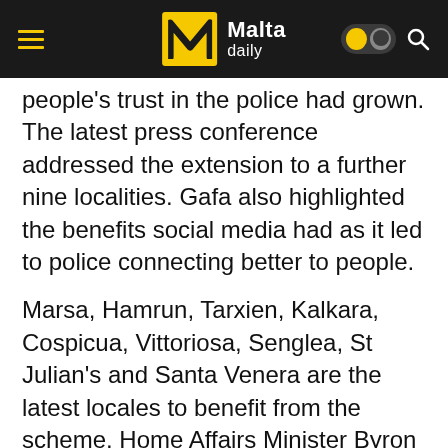Malta daily
people's trust in the police had grown. The latest press conference addressed the extension to a further nine localities. Gafa also highlighted the benefits social media had as it led to police connecting better to people.
Marsa, Hamrun, Tarxien, Kalkara, Cospicua, Vittoriosa, Senglea, St Julian's and Santa Venera are the latest locales to benefit from the scheme. Home Affairs Minister Byron Camilleri spoke on how the extension of the scheme led to more security in the communities being served.